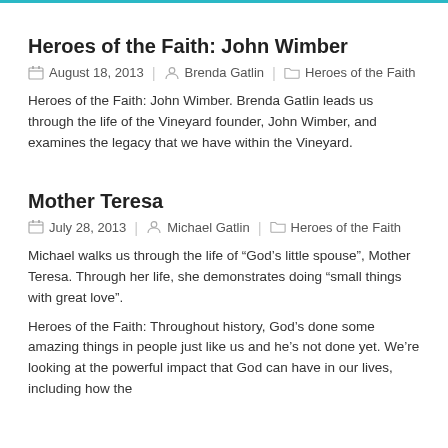Heroes of the Faith: John Wimber
August 18, 2013 | Brenda Gatlin | Heroes of the Faith
Heroes of the Faith: John Wimber. Brenda Gatlin leads us through the life of the Vineyard founder, John Wimber, and examines the legacy that we have within the Vineyard.
Mother Teresa
July 28, 2013 | Michael Gatlin | Heroes of the Faith
Michael walks us through the life of “God’s little spouse”, Mother Teresa. Through her life, she demonstrates doing “small things with great love”.
Heroes of the Faith: Throughout history, God’s done some amazing things in people just like us and he’s not done yet. We’re looking at the powerful impact that God can have in our lives, including how the